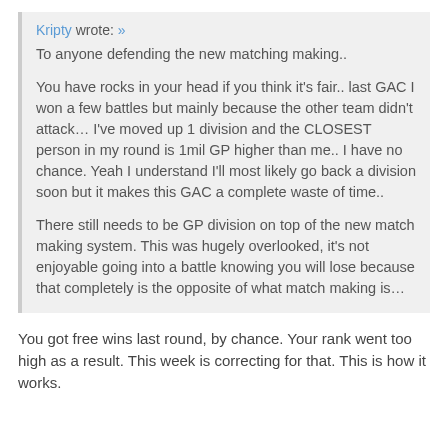Kripty wrote: » To anyone defending the new matching making.. You have rocks in your head if you think it's fair.. last GAC I won a few battles but mainly because the other team didn't attack… I've moved up 1 division and the CLOSEST person in my round is 1mil GP higher than me.. I have no chance. Yeah I understand I'll most likely go back a division soon but it makes this GAC a complete waste of time.. There still needs to be GP division on top of the new match making system. This was hugely overlooked, it's not enjoyable going into a battle knowing you will lose because that completely is the opposite of what match making is…
You got free wins last round, by chance. Your rank went too high as a result. This week is correcting for that. This is how it works.